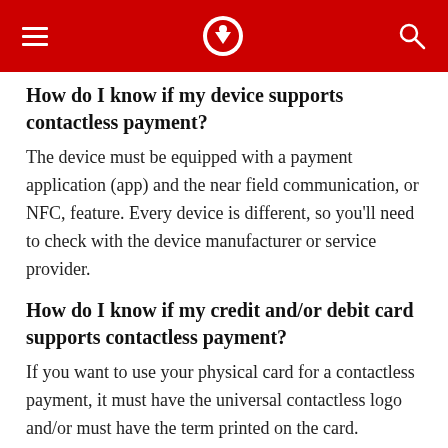Navigation header with hamburger menu, logo, and search icon
How do I know if my device supports contactless payment?
The device must be equipped with a payment application (app) and the near field communication, or NFC, feature. Every device is different, so you'll need to check with the device manufacturer or service provider.
How do I know if my credit and/or debit card supports contactless payment?
If you want to use your physical card for a contactless payment, it must have the universal contactless logo and/or must have the term printed on the card.
Is my credit and/or debit card required to have